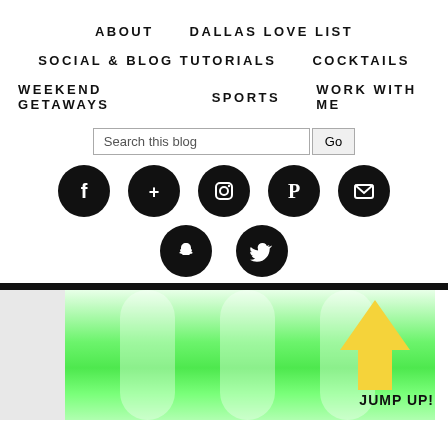ABOUT    DALLAS LOVE LIST
SOCIAL & BLOG TUTORIALS    COCKTAILS
WEEKEND GETAWAYS    SPORTS    WORK WITH ME
[Figure (screenshot): Blog navigation menu with social media icons (Facebook, Google+, Instagram, Pinterest, Email, Snapchat, Twitter), a search bar, and a bottom section showing a green blurred background with a yellow upward arrow and text JUMP UP!]